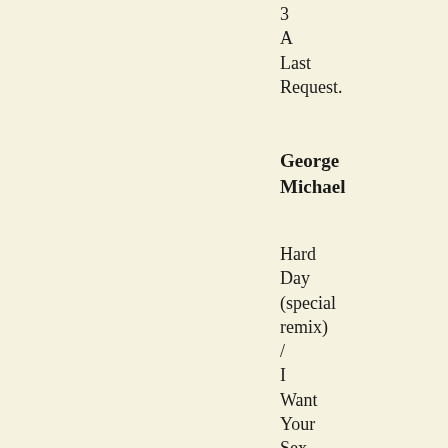3
A
Last
Request.
George Michael
Hard
Day
(special
remix)
/
I
Want
Your
Sex
(monogamy
mix)
(12-
inch
PS)
/